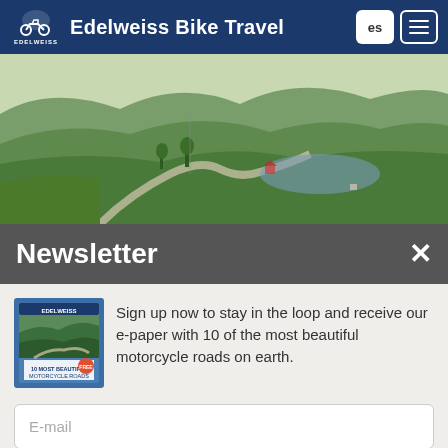Edelweiss Bike Travel
[Figure (photo): Panoramic landscape photo showing green rolling hills, a winding road, and a lake valley in the background — a scenic motorcycle road setting.]
Newsletter
Sign up now to stay in the loop and receive our e-paper with 10 of the most beautiful motorcycle roads on earth.
[Figure (photo): Small image of an Edelweiss e-paper booklet/magazine cover showing a road scene.]